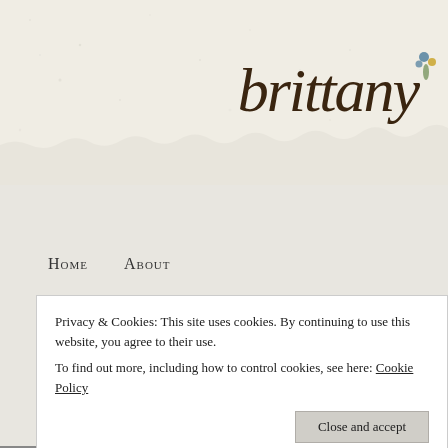[Figure (illustration): Header banner with cream/off-white torn paper texture background. Cursive script reading 'brittany' in dark brown ink on the right side, with a small floral/botanical illustration in blue and yellow at the far right.]
Home   About
Privacy & Cookies: This site uses cookies. By continuing to use this website, you agree to their use.
To find out more, including how to control cookies, see here: Cookie Policy
Close and accept
Computing for Design, Logo, Mississippi State University, Photog
Illustrator, Adobe, I, Design, Adobe, Photography, leading, CR